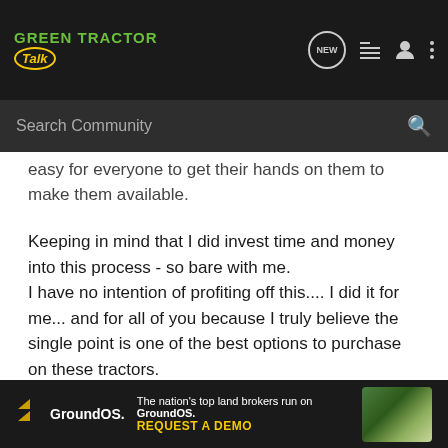Green Tractor Talk - Navigation bar with logo, NEW, list, profile, and more icons, plus Search Community bar
easy for everyone to get their hands on them to make them available.
Keeping in mind that I did invest time and money into this process - so bare with me.
I have no intention of profiting off this.... I did it for me... and for all of you because I truly believe the single point is one of the best options to purchase on these tractors.
I need to convert @chex313 back to the SPC group of love ha! 🙂
Here's a snap shot of 1 of the drawings during the R&D process
[Figure (screenshot): GroundOS advertisement banner: 'The nation's top land brokers run on GroundOS. REQUEST A DEMO' with aerial farmland image on right]